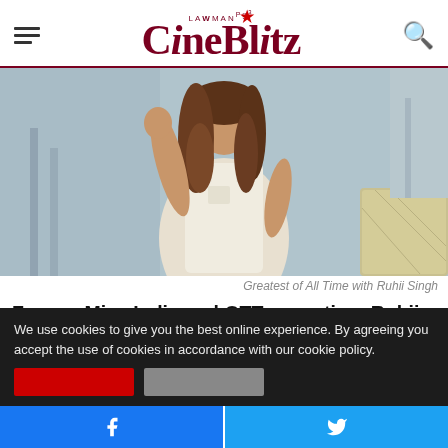LAWMAN Pg3 CINEBLITZ
[Figure (photo): A young woman with long curly brown hair wearing a white sleeveless top over a pink shirt, posing with one hand raised, standing near a staircase. Photo associated with Greatest of All Time with Ruhii Singh article.]
Greatest of All Time with Ruhii Singh
Former Miss India and OTT sensation, Ruhii Singh is all set to take love celebrations to the next level this Valentine's
We use cookies to give you the best online experience. By agreeing you accept the use of cookies in accordance with our cookie policy.